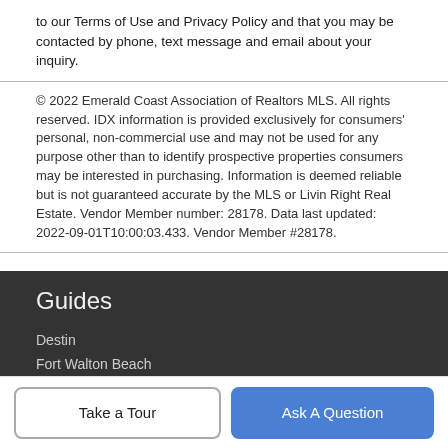to our Terms of Use and Privacy Policy and that you may be contacted by phone, text message and email about your inquiry.
© 2022 Emerald Coast Association of Realtors MLS. All rights reserved. IDX information is provided exclusively for consumers' personal, non-commercial use and may not be used for any purpose other than to identify prospective properties consumers may be interested in purchasing. Information is deemed reliable but is not guaranteed accurate by the MLS or Livin Right Real Estate. Vendor Member number: 28178. Data last updated: 2022-09-01T10:00:03.433. Vendor Member #28178.
Guides
Destin
Fort Walton Beach
Santa Rosa Beach
Take a Tour
Ask A Question